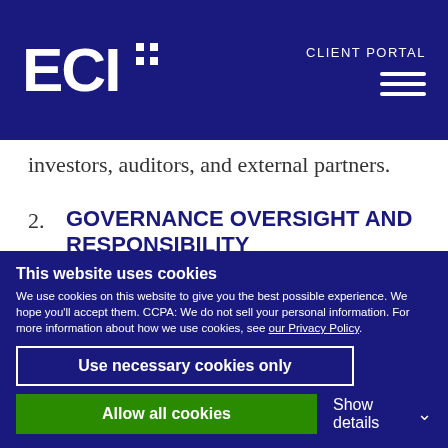ECI+ CLIENT PORTAL
investors, auditors, and external partners.
2. GOVERNANCE OVERSIGHT AND RESPONSIBILITY
Everyone within your organization has a role in information security, but creating a
This website uses cookies
We use cookies on this website to give you the best possible experience. We hope you'll accept them. CCPA: We do not sell your personal information. For more information about how we use cookies, see our Privacy Policy.
Use necessary cookies only
Allow all cookies
Show details